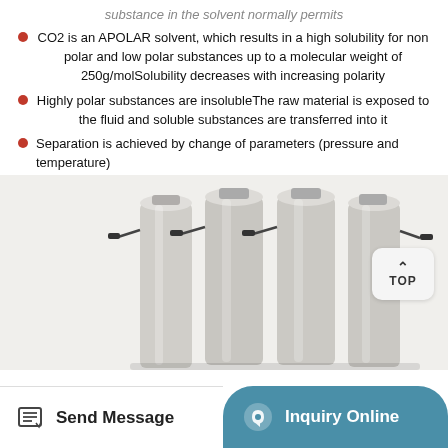substance in the solvent normally permits
CO2 is an APOLAR solvent, which results in a high solubility for non polar and low polar substances up to a molecular weight of 250g/molSolubility decreases with increasing polarity
Highly polar substances are insolubleThe raw material is exposed to the fluid and soluble substances are transferred into it
Separation is achieved by change of parameters (pressure and temperature)
[Figure (photo): Multiple tall cylindrical stainless steel pressure vessels (extraction columns) arranged in a row, with valve fittings at the top. Industrial supercritical CO2 extraction equipment.]
Send Message | Inquiry Online